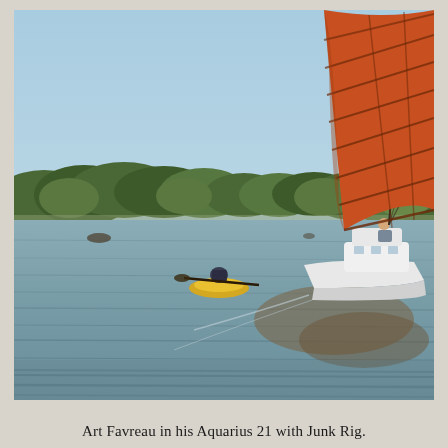[Figure (photo): A white motorboat with a large orange junk sail on open water, with a kayaker in the middle ground and green mangrove trees lining the distant shore under a light blue sky.]
Art Favreau in his Aquarius 21 with Junk Rig.